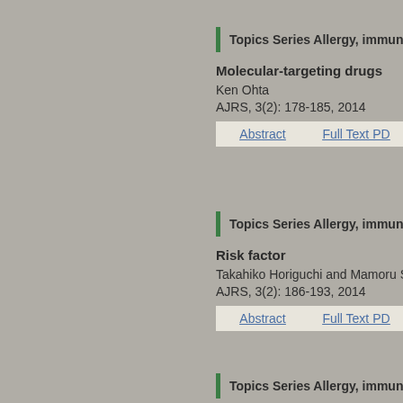Topics Series Allergy, immuno
Molecular-targeting drugs
Ken Ohta
AJRS, 3(2): 178-185, 2014
Abstract   Full Text PD
Topics Series Allergy, immuno
Risk factor
Takahiko Horiguchi and Mamoru S
AJRS, 3(2): 186-193, 2014
Abstract   Full Text PD
Topics Series Allergy, immuno
Complication of asthma such as eosinophilic granulomatosis wi